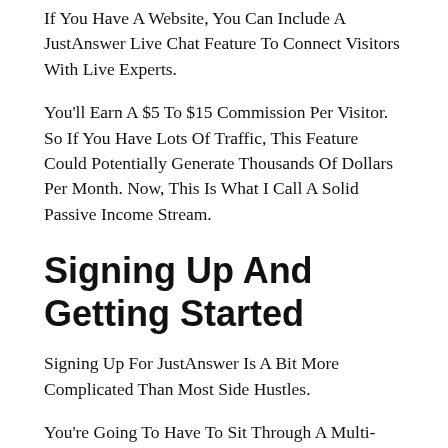If You Have A Website, You Can Include A JustAnswer Live Chat Feature To Connect Visitors With Live Experts.
You'll Earn A $5 To $15 Commission Per Visitor. So If You Have Lots Of Traffic, This Feature Could Potentially Generate Thousands Of Dollars Per Month. Now, This Is What I Call A Solid Passive Income Stream.
Signing Up And Getting Started
Signing Up For JustAnswer Is A Bit More Complicated Than Most Side Hustles.
You're Going To Have To Sit Through A Multi-Step Verification Process Before You Can Start Using JustAnswer.